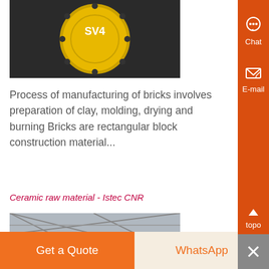[Figure (photo): Yellow circular machinery part labeled SV4, mounted on dark industrial equipment]
Process of manufacturing of bricks involves preparation of clay, molding, drying and burning Bricks are rectangular block construction material...
Ceramic raw material - Istec CNR
[Figure (photo): Interior of an industrial warehouse or factory with large steel roof trusses and machinery]
Get a Quote
WhatsApp